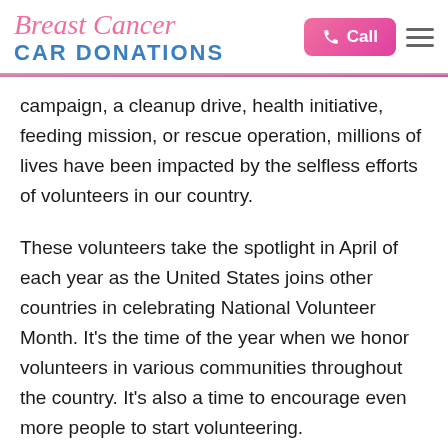Breast Cancer CAR DONATIONS
campaign, a cleanup drive, health initiative, feeding mission, or rescue operation, millions of lives have been impacted by the selfless efforts of volunteers in our country.
These volunteers take the spotlight in April of each year as the United States joins other countries in celebrating National Volunteer Month. It’s the time of the year when we honor volunteers in various communities throughout the country. It’s also a time to encourage even more people to start volunteering.
National Volunteer Month started as National Volunteer